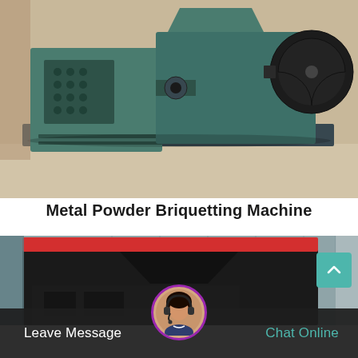[Figure (photo): Industrial metal powder briquetting machine painted green/teal, showing rollers and flywheel, placed outdoors on concrete ground.]
Metal Powder Briquetting Machine
[Figure (photo): Large black industrial briquetting machine with red hopper top, photographed inside a factory/warehouse setting.]
[Figure (photo): Customer service representative avatar with headset, circular portrait used in chat widget.]
Leave Message
Chat Online